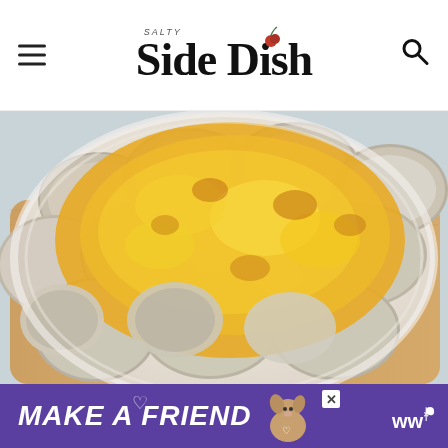Salty Side Dish
[Figure (photo): Close-up photo of a cheesy scalloped potato casserole in a white oval baking dish. Sliced potatoes are arranged in overlapping circles and covered with melted golden-brown cheddar cheese. The dish sits on a wooden cutting board with a light blue-grey surface visible in the background.]
[Figure (screenshot): Advertisement banner with purple background showing text 'MAKE A FRIEND' in large white italic bold letters, with a small dog image and heart icons, and a close button. WW logo on right side.]